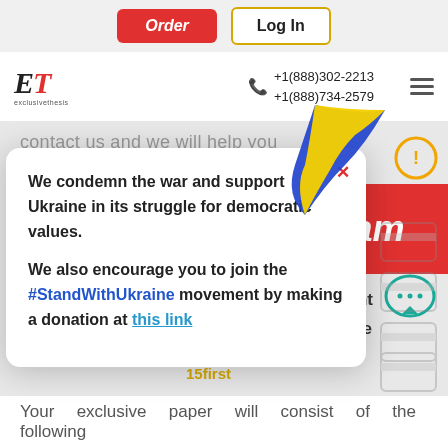[Figure (screenshot): Website header with Order and Log In buttons at top, ET exclusivethesis logo, phone numbers +1(888)302-2213 and +1(888)734-2579, hamburger menu icon]
contact us and we will help you
[Figure (illustration): Ukrainian flag ribbon/streamer in blue and yellow]
We condemn the war and support Ukraine in its struggle for democratic values.

We also encourage you to join the #StandWithUkraine movement by making a donation at this link
gram
orders
u bring
discount
the code
15first
Your exclusive paper will consist of the following